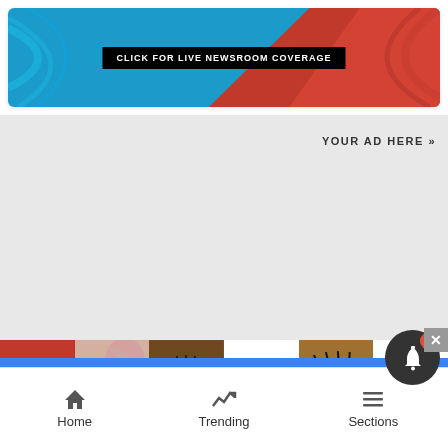[Figure (screenshot): Banner ad with blue and red background and text CLICK FOR LIVE NEWSROOM COVERAGE on black bar]
YOUR AD HERE »
[Figure (photo): Ulta Beauty advertisement banner showing makeup imagery: lips, brush, eye, Ulta logo, smokey eye, and SHOP NOW]
Home  Trending  Sections